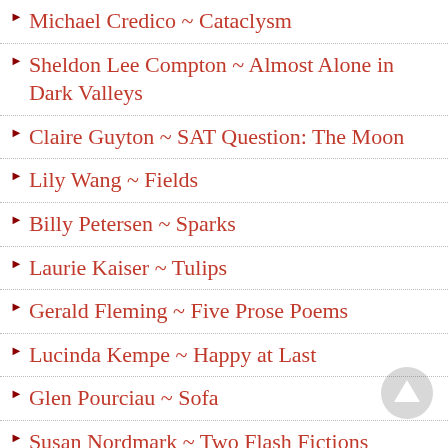Michael Credico ~ Cataclysm
Sheldon Lee Compton ~ Almost Alone in Dark Valleys
Claire Guyton ~ SAT Question: The Moon
Lily Wang ~ Fields
Billy Petersen ~ Sparks
Laurie Kaiser ~ Tulips
Gerald Fleming ~ Five Prose Poems
Lucinda Kempe ~ Happy at Last
Glen Pourciau ~ Sofa
Susan Nordmark ~ Two Flash Fictions
Peter Johnson ~ Pretty Girl
An Early Manifestation
Eric Bosse ~ Statuary